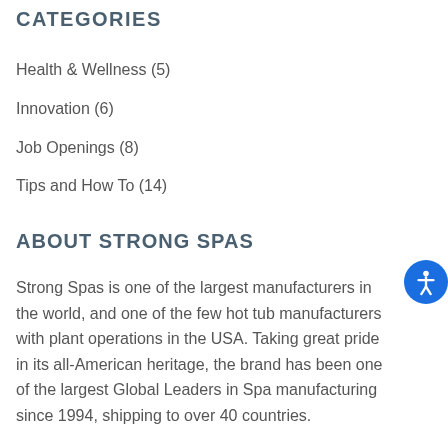CATEGORIES
Health & Wellness (5)
Innovation (6)
Job Openings (8)
Tips and How To (14)
ABOUT STRONG SPAS
Strong Spas is one of the largest manufacturers in the world, and one of the few hot tub manufacturers with plant operations in the USA. Taking great pride in its all-American heritage, the brand has been one of the largest Global Leaders in Spa manufacturing since 1994, shipping to over 40 countries.